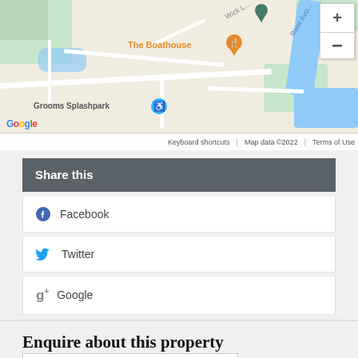[Figure (map): Google Maps screenshot showing area around The Boathouse and Grooms Splashpark, with River Avon and Wick Lane visible. Map controls (+/-) visible top right. Google logo and map attribution at bottom.]
Share this
Facebook
Twitter
Google
Enquire about this property
Name
Email